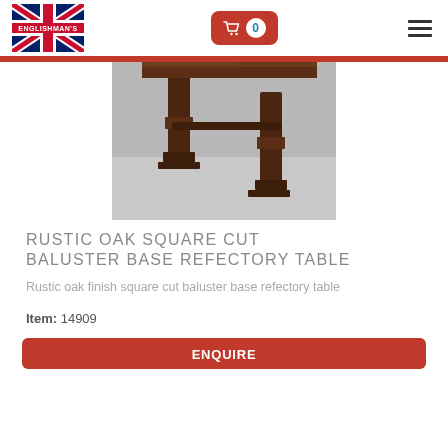Englishman's — cart 0 — menu
[Figure (photo): Close-up photo of a rustic oak square cut baluster base refectory table legs and stretcher on a grey carpeted floor]
RUSTIC OAK SQUARE CUT BALUSTER BASE REFECTORY TABLE
Rustic oak finish square cut baluster base refectory table
Item: 14909
ENQUIRE